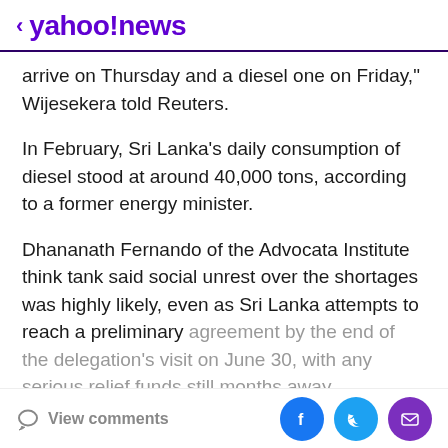< yahoo!news
arrive on Thursday and a diesel one on Friday," Wijesekera told Reuters.
In February, Sri Lanka's daily consumption of diesel stood at around 40,000 tons, according to a former energy minister.
Dhananath Fernando of the Advocata Institute think tank said social unrest over the shortages was highly likely, even as Sri Lanka attempts to reach a preliminary agreement by the end of the delegation's visit on June 30, with any serious relief funds still months away.
Story continues
View comments